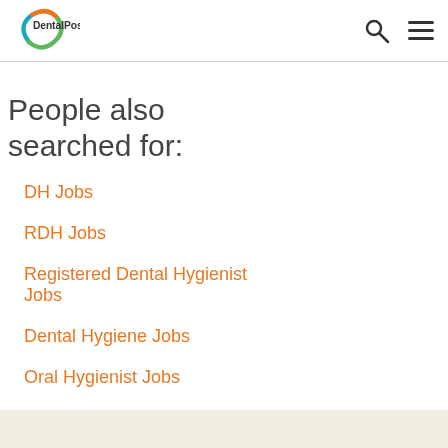DentalPost
People also searched for:
DH Jobs
RDH Jobs
Registered Dental Hygienist Jobs
Dental Hygiene Jobs
Oral Hygienist Jobs